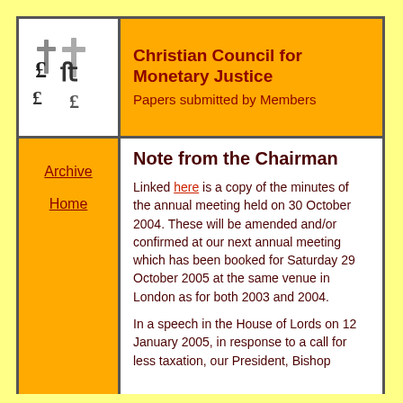[Figure (logo): Christian Council for Monetary Justice logo: stylized pound signs with crosses]
Christian Council for Monetary Justice
Papers submitted by Members
Archive
Home
Note from the Chairman
Linked here is a copy of the minutes of the annual meeting held on 30 October 2004. These will be amended and/or confirmed at our next annual meeting which has been booked for Saturday 29 October 2005 at the same venue in London as for both 2003 and 2004.
In a speech in the House of Lords on 12 January 2005, in response to a call for less taxation, our President, Bishop